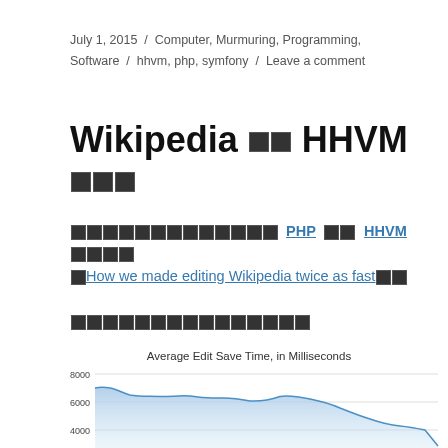July 1, 2015 / Computer, Murmuring, Programming, Software / hhvm, php, symfony / Leave a comment
Wikipedia □□ HHVM □□□
□□□□□□□□□□□□□ PHP □□ HHVM □□□□ 「How we made editing Wikipedia twice as fast」
□□□□□□□□□□□□□□
[Figure (area-chart): Area chart showing average edit save time in milliseconds over time, with values starting around 7000, leveling around 6000, then dropping sharply at the end toward 4000.]